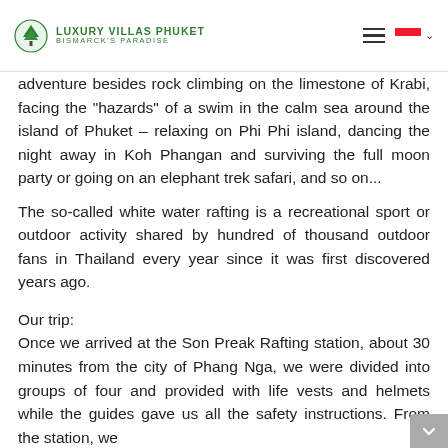Luxury Villas Phuket - Bismarck's Paradise
adventure besides rock climbing on the limestone of Krabi, facing the "hazards" of a swim in the calm sea around the island of Phuket – relaxing on Phi Phi island, dancing the night away in Koh Phangan and surviving the full moon party or going on an elephant trek safari, and so on... The so-called white water rafting is a recreational sport or outdoor activity shared by hundred of thousand outdoor fans in Thailand every year since it was first discovered years ago.
Our trip: Once we arrived at the Son Preak Rafting station, about 30 minutes from the city of Phang Nga, we were divided into groups of four and provided with life vests and helmets while the guides gave us all the safety instructions. From the station, we